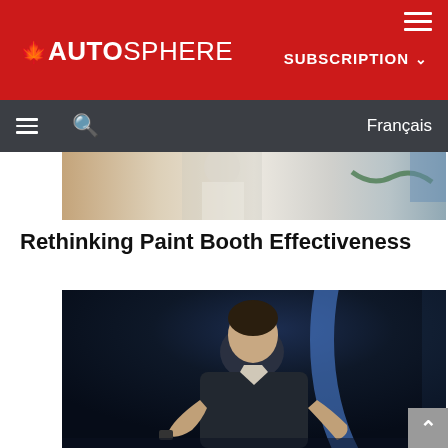AUTOSPHERE – SUBSCRIPTION – Français
Rethinking Paint Booth Effectiveness
[Figure (photo): Top partial image showing a person in white protective suit working in a paint booth environment]
[Figure (photo): A man in a dark suit holding a device, speaking on a stage with blue circular lighting arc in the background]